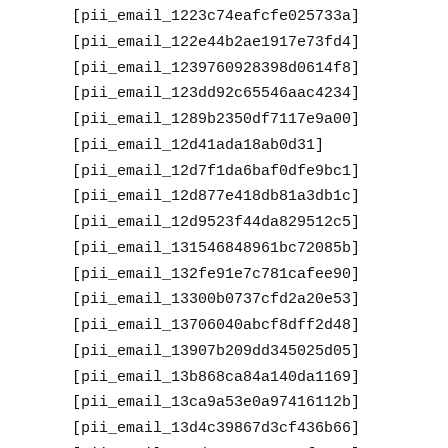[pii_email_1223c74eafcfe025733a]
[pii_email_122e44b2ae1917e73fd4]
[pii_email_1239760928398d0614f8]
[pii_email_123dd92c65546aac4234]
[pii_email_1289b2350df7117e9a00]
[pii_email_12d41ada18ab0d31]
[pii_email_12d7f1da6baf0dfe9bc1]
[pii_email_12d877e418db81a3db1c]
[pii_email_12d9523f44da829512c5]
[pii_email_131546848961bc72085b]
[pii_email_132fe91e7c781cafee90]
[pii_email_13300b0737cfd2a20e53]
[pii_email_13706040abcf8dff2d48]
[pii_email_13907b209dd345025d05]
[pii_email_13b868ca84a140da1169]
[pii_email_13ca9a53e0a97416112b]
[pii_email_13d4c39867d3cf436b66]
[pii_email_143d441990c0017f9336]
[pii_email_14775682b7e2565009f8]